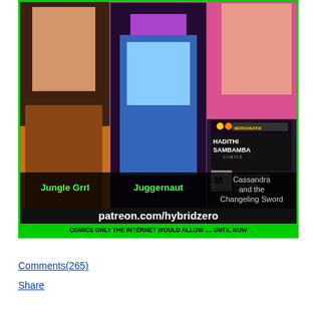[Figure (illustration): Advertisement banner for patreon.com/hybridzero featuring three comic panels: 'Jungle Grrl' (left panel with fantasy female characters), 'Juggernaut' (center panel with blue sci-fi female character), and 'Cassandra and the Changeling Sword' (right panel with redhead female character and Hadithi Sambamba Comics logo with M rating). Green border surrounds image. Bottom text reads 'patreon.com/hybridzero' and 'COMICS ONLY THE INTERNET WOULD ALLOW .... UNTIL NOW' in green on black.]
Comments(265)
Share